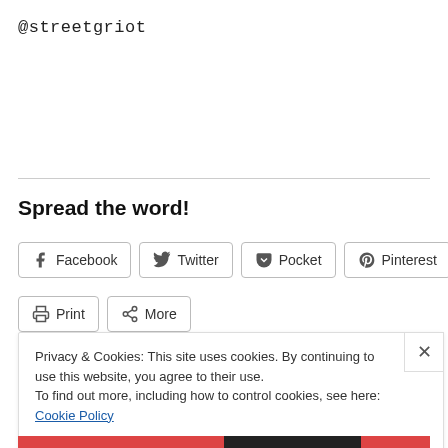@streetgriot
Spread the word!
Facebook Twitter Pocket Pinterest Email Print More
Privacy & Cookies: This site uses cookies. By continuing to use this website, you agree to their use.
To find out more, including how to control cookies, see here: Cookie Policy
Close and accept